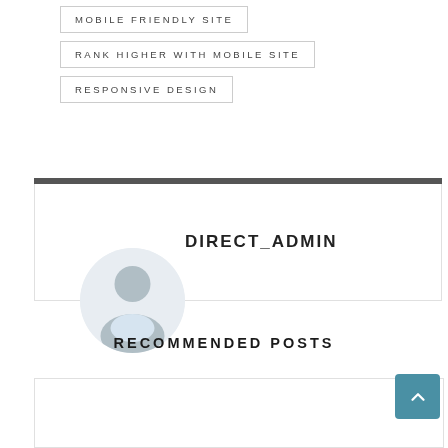MOBILE FRIENDLY SITE
RANK HIGHER WITH MOBILE SITE
RESPONSIVE DESIGN
DIRECT_ADMIN
RECOMMENDED POSTS
[Figure (other): Empty recommended post card placeholder]